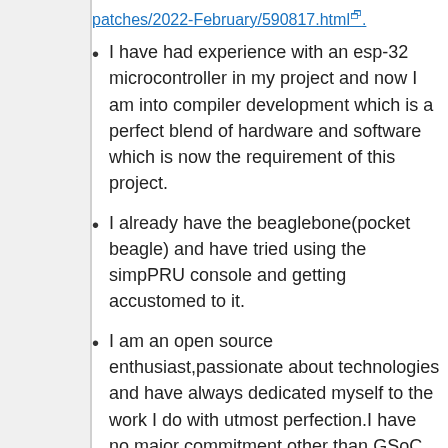patches/2022-February/590817.html.
I have had experience with an esp-32 microcontroller in my project and now I am into compiler development which is a perfect blend of hardware and software which is now the requirement of this project.
I already have the beaglebone(pocket beagle) and have tried using the simpPRU console and getting accustomed to it.
I am an open source enthusiast,passionate about technologies and have always dedicated myself to the work I do with utmost perfection.I have no major commitment other than GSoC during the summer break and would give the best of my potential to complete the project idea in the given